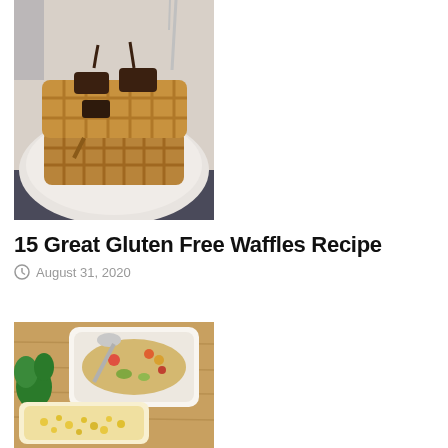[Figure (photo): Photo of golden waffles stacked on a white plate with chocolate syrup drizzled on top, fork visible in background]
15 Great Gluten Free Waffles Recipe
August 31, 2020
[Figure (photo): Photo of a casserole dish with mixed vegetables and a baked corn or egg dish on a wooden cutting board with herbs]